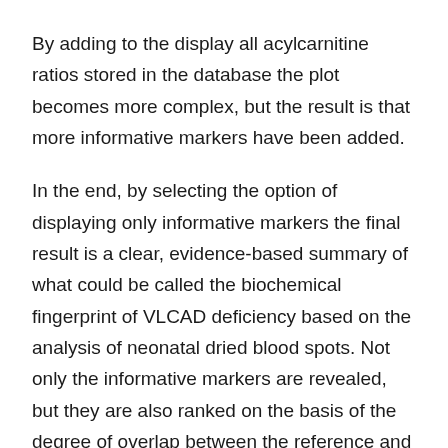By adding to the display all acylcarnitine ratios stored in the database the plot becomes more complex, but the result is that more informative markers have been added.
In the end, by selecting the option of displaying only informative markers the final result is a clear, evidence-based summary of what could be called the biochemical fingerprint of VLCAD deficiency based on the analysis of neonatal dried blood spots. Not only the informative markers are revealed, but they are also ranked on the basis of the degree of overlap between the reference and disease ranges. This pattern is indeed unique to VLCAD deficiency.